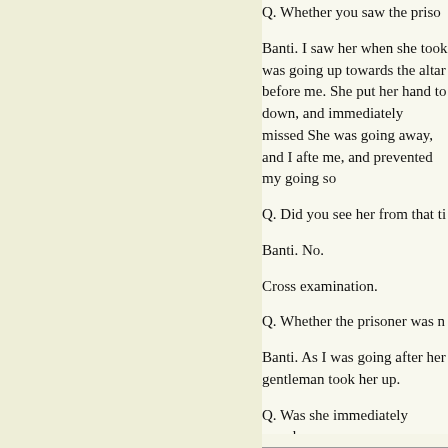Q. Whether you saw the priso...
Banti. I saw her when she took was going up towards the altar before me. She put her hand to down, and immediately missed She was going away, and I afte me, and prevented my going so
Q. Did you see her from that ti
Banti. No.
Cross examination.
Q. Whether the prisoner was n
Banti. As I was going after her gentleman took her up.
Q. Was she immediately search
Banti. No, not immediately.
Q. Do you know the name of th